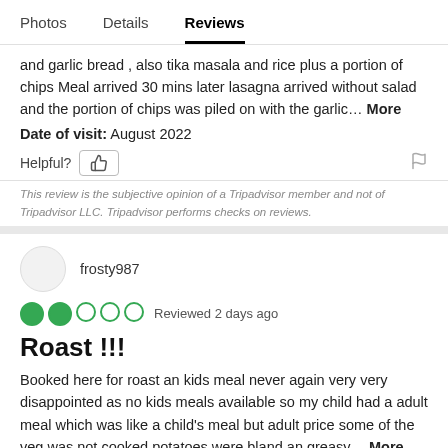Photos   Details   Reviews
and garlic bread , also tika masala and rice plus a portion of chips Meal arrived 30 mins later lasagna arrived without salad and the portion of chips was piled on with the garlic... More
Date of visit: August 2022
Helpful? [thumbs up] [flag]
This review is the subjective opinion of a Tripadvisor member and not of Tripadvisor LLC. Tripadvisor performs checks on reviews.
frosty987
Reviewed 2 days ago
Roast !!!
Booked here for roast an kids meal never again very very disappointed as no kids meals available so my child had a adult meal which was like a child's meal but adult price some of the veg was not cooked potatoes were bland an greasy... More
Date of visit: August 2022